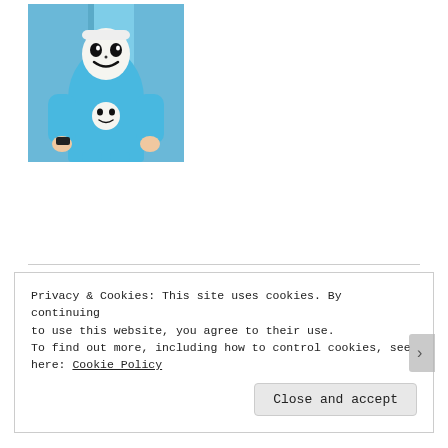[Figure (photo): Person wearing a blue Finn (Adventure Time) onesie costume, standing with hands on hips in front of a building]
King of the Wasteland Kitchen
[Figure (photo): Partial image of article graphic showing stylized text 'OF THE' in bold block letters over a black and white background, with a food/kitchen related image below]
Privacy & Cookies: This site uses cookies. By continuing to use this website, you agree to their use.
To find out more, including how to control cookies, see here: Cookie Policy
Close and accept